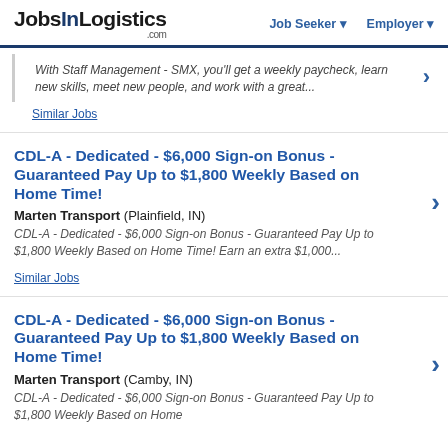JobsInLogistics.com | Job Seeker | Employer
With Staff Management - SMX, you'll get a weekly paycheck, learn new skills, meet new people, and work with a great...
Similar Jobs
CDL-A - Dedicated - $6,000 Sign-on Bonus - Guaranteed Pay Up to $1,800 Weekly Based on Home Time!
Marten Transport (Plainfield, IN)
CDL-A - Dedicated - $6,000 Sign-on Bonus - Guaranteed Pay Up to $1,800 Weekly Based on Home Time! Earn an extra $1,000...
Similar Jobs
CDL-A - Dedicated - $6,000 Sign-on Bonus - Guaranteed Pay Up to $1,800 Weekly Based on Home Time!
Marten Transport (Camby, IN)
CDL-A - Dedicated - $6,000 Sign-on Bonus - Guaranteed Pay Up to $1,800 Weekly Based on Home Time